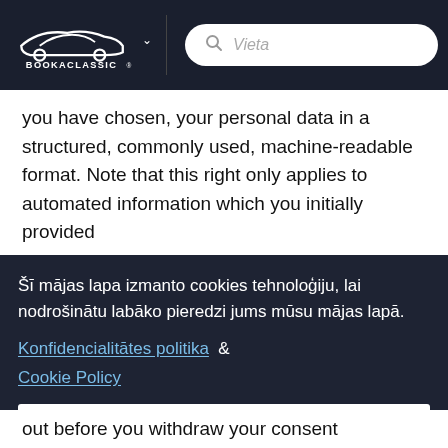[Figure (logo): BookAClassic logo with car silhouette on dark header bar with search box showing 'Vieta' placeholder]
you have chosen, your personal data in a structured, commonly used, machine-readable format. Note that this right only applies to automated information which you initially provided
Šī mājas lapa izmanto cookies tehnoloģiju, lai nodrošinātu labāko pieredzi jums mūsu mājas lapā. Konfidencialitātes politika & Cookie Policy
Es saprotu
out before you withdraw your consent